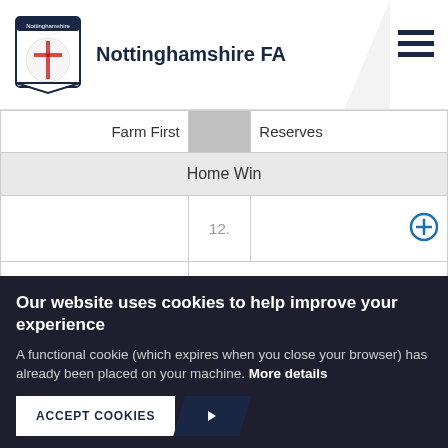Nottinghamshire FA
| Team |  | Result/Info |
| --- | --- | --- |
| Farm First |  | Reserves |
|  | Home Win |  |
|  | 12. | + |
|  | 29/09/18   14:30 |  |
| Kirton |  | Retford United |
Our website uses cookies to help improve your experience
A functional cookie (which expires when you close your browser) has already been placed on your machine. More details
ACCEPT COOKIES